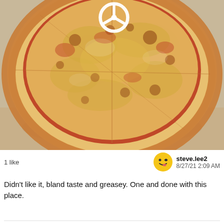[Figure (photo): Close-up photo of a cheese pizza in a cardboard delivery box. The pizza has a golden-brown crust with melted mozzarella cheese and tomato sauce, with a Mercedes/Benz style saver clip visible at the top center.]
1 like
steve.lee2
8/27/21 2:09 AM
Didn't like it, bland taste and greasey. One and done with this place.